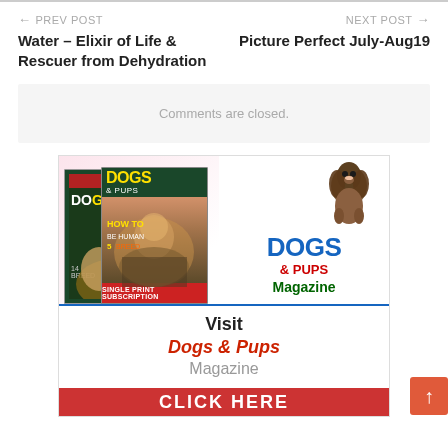← PREV POST
Water – Elixir of Life & Rescuer from Dehydration
NEXT POST →
Picture Perfect July-Aug19
Comments are closed.
[Figure (illustration): Advertisement for Dogs & Pups Magazine showing magazine covers, dog photo, brand logo, and 'Visit Dogs & Pups Magazine / CLICK HERE' call to action]